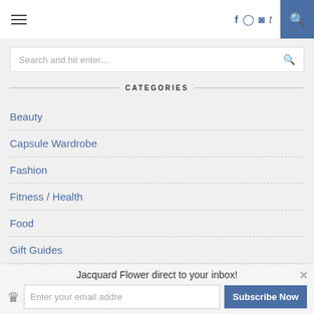Navigation bar with hamburger menu, social icons (f, instagram, pinterest, t), and search button
Search and hit enter...
CATEGORIES
Beauty
Capsule Wardrobe
Fashion
Fitness / Health
Food
Gift Guides
Jewellery
Jacquard Flower direct to your inbox!
Enter your email addre
Subscribe Now